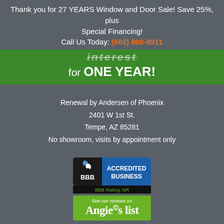Thank you for 27 YEARS Window and Door Sale! Save 25%, plus Special Financing!
Call Us Today: (602) 806-8911
[Figure (infographic): Green banner with partially visible text 'interest' struck through and text 'for ONE YEAR!' in white]
Renewal by Andersen of Phoenix
2401 W 1st St.
Tempe, AZ 85281
No showroom, visits by appointment only
[Figure (logo): BBB Accredited Business badge with BBB Rating: NR]
[Figure (logo): Angie's List - See our reviews on Angie's list badge]